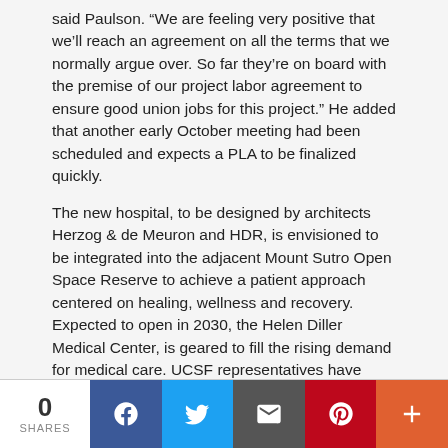said Paulson. “We are feeling very positive that we’ll reach an agreement on all the terms that we normally argue over. So far they’re on board with the premise of our project labor agreement to ensure good union jobs for this project.” He added that another early October meeting had been scheduled and expects a PLA to be finalized quickly.
The new hospital, to be designed by architects Herzog & de Meuron and HDR, is envisioned to be integrated into the adjacent Mount Sutro Open Space Reserve to achieve a patient approach centered on healing, wellness and recovery. Expected to open in 2030, the Helen Diller Medical Center, is geared to fill the rising demand for medical care. UCSF representatives have stated that, in recent years, the existing hospitals at Parnassus Heights have had to turn away nearly 3,000 patients annually due to a lack of space.
Despite this, the demand is expected to continue to increase. With the Bay Area’s population projected to add an additional 750,000 people in the next decade coupled and with an aging
0 SHARES